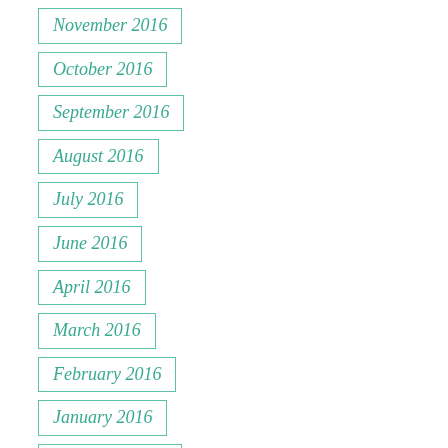November 2016
October 2016
September 2016
August 2016
July 2016
June 2016
April 2016
March 2016
February 2016
January 2016
December 2015
November 2015
October 2015
September 2015
August 2015